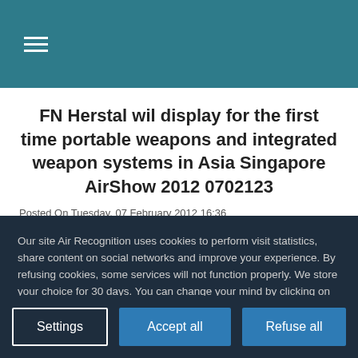≡
FN Herstal wil display for the first time portable weapons and integrated weapon systems in Asia Singapore AirShow 2012 0702123
Posted On Tuesday, 07 February 2012 16:36
Our site Air Recognition uses cookies to perform visit statistics, share content on social networks and improve your experience. By refusing cookies, some services will not function properly. We store your choice for 30 days. You can change your mind by clicking on the 'Cookies' button at the bottom left of every page of our site. Learn more